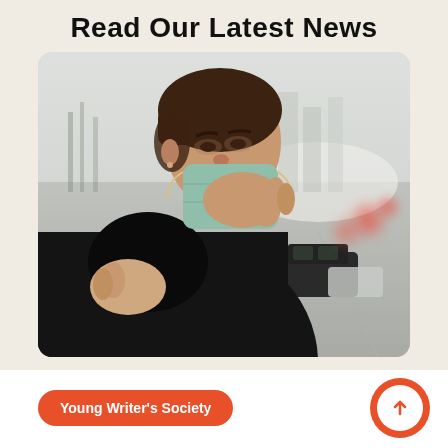Read Our Latest News
[Figure (photo): Young man wearing a surgical/medical face mask on a city street, holding the mask with one hand and clutching his chest with the other. Blurred street with cars and red taillights visible in the background.]
Young Writer's Society